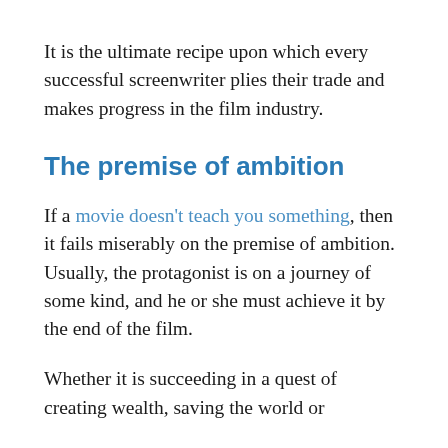It is the ultimate recipe upon which every successful screenwriter plies their trade and makes progress in the film industry.
The premise of ambition
If a movie doesn't teach you something, then it fails miserably on the premise of ambition. Usually, the protagonist is on a journey of some kind, and he or she must achieve it by the end of the film.
Whether it is succeeding in a quest of creating wealth, saving the world or